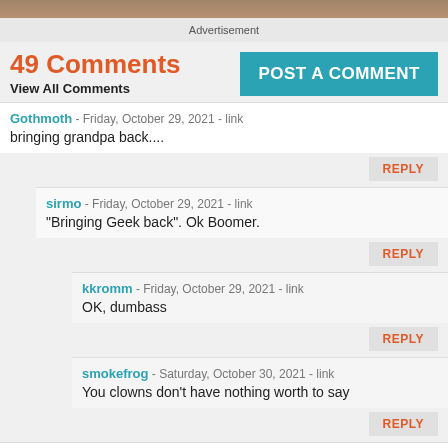[Figure (photo): Top portion of an advertisement or image banner, partially cropped]
Advertisement
49 Comments
View All Comments
POST A COMMENT
Gothmoth - Friday, October 29, 2021 - link
bringing grandpa back....
REPLY
sirmo - Friday, October 29, 2021 - link
"Bringing Geek back". Ok Boomer.
REPLY
kkromm - Friday, October 29, 2021 - link
OK, dumbass
REPLY
smokefrog - Saturday, October 30, 2021 - link
You clowns don't have nothing worth to say
REPLY
YB1064 - Saturday, October 30, 2021 - link
I hoped someone would have asked about integrating FPGA